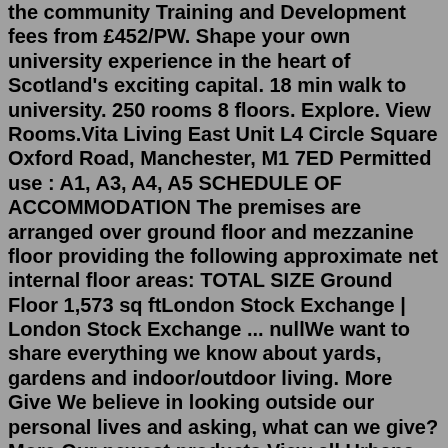the community Training and Development fees from £452/PW. Shape your own university experience in the heart of Scotland's exciting capital. 18 min walk to university. 250 rooms 8 floors. Explore. View Rooms.Vita Living East Unit L4 Circle Square Oxford Road, Manchester, M1 7ED Permitted use : A1, A3, A4, A5 SCHEDULE OF ACCOMMODATION The premises are arranged over ground floor and mezzanine floor providing the following approximate net internal floor areas: TOTAL SIZE Ground Floor 1,573 sq ftLondon Stock Exchange | London Stock Exchange ... nullWe want to share everything we know about yards, gardens and indoor/outdoor living. More Give We believe in looking outside our personal lives and asking, what can we give? More Our newest products View all Urbana 13"x13"x30" Pillar Planter - 2 Pack $249.99 In stock Urbana 12"x24" Planter - 2 Pack $199.99 In stockCity centre living, your way The perks of Circle Square Apartments designed by Vita Living Vita Living offers six entire floors of communal spaces for